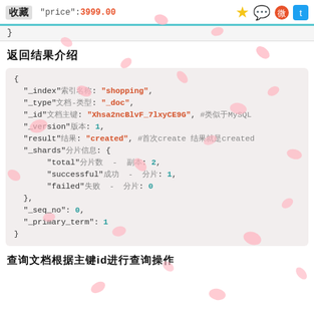收藏 "price":3999.00
}
返回结果介绍
{
  "_index"索引名称: "shopping",
  "_type"文档-类型: "_doc",
  "_id"文档主键: "Xhsa2ncBlvF_7lxyCE9G", #类似于MySQL
  "_version"版本: 1,
  "result"结果: "created", #首次create 结果就是created
  "_shards"分片信息: {
        "total"分片数  -  副本: 2,
        "successful"成功  -  分片: 1,
        "failed"失败  -  分片: 0
  },
  "_seq_no": 0,
  "_primary_term": 1
}
查询文档根据主键id进行查询操作